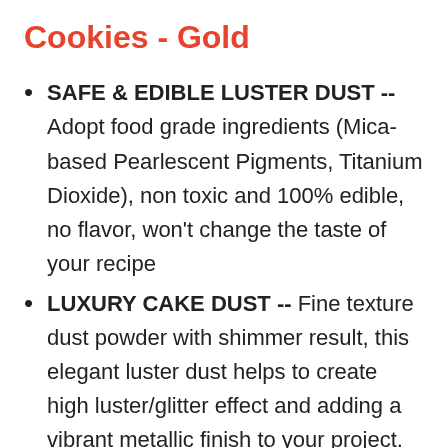Cookies - Gold
SAFE & EDIBLE LUSTER DUST -- Adopt food grade ingredients (Mica-based Pearlescent Pigments, Titanium Dioxide), non toxic and 100% edible, no flavor, won't change the taste of your recipe
LUXURY CAKE DUST -- Fine texture dust powder with shimmer result, this elegant luster dust helps to create high luster/glitter effect and adding a vibrant metallic finish to your project. With variety of colors to choose, add luster in the